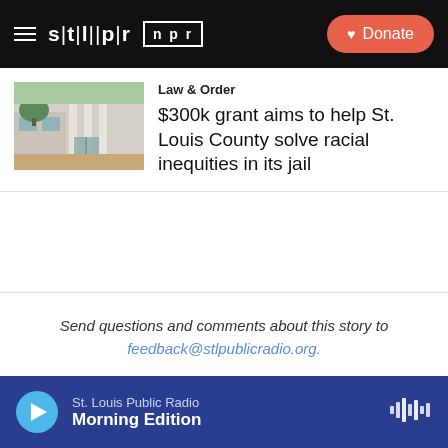stl|pr  npr  Donate
[Figure (photo): Photo of a government or courthouse building exterior with columns and glass entrance, trees visible]
Law & Order
$300k grant aims to help St. Louis County solve racial inequities in its jail
Send questions and comments about this story to feedback@stlpublicradio.org.
Related Content
St. Louis Public Radio  Morning Edition